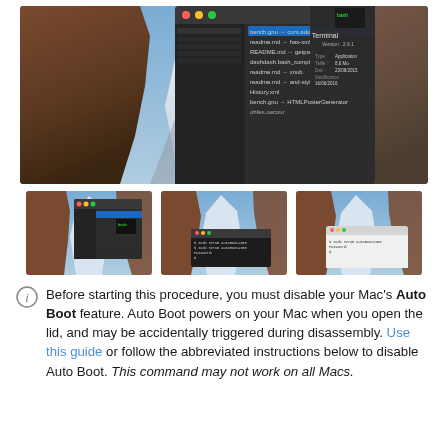[Figure (screenshot): macOS Finder window showing a file list with filenames like bench.gnu, readme.md, README.md, dashdash.bash_completion.m, History.xml, bench.gnu, and a Terminal app info panel showing Version 2.6.1, Type: Application, Date: 8.6 Mo, Dsk: 23/08/2015, Modification: 16/06/2016, Dernière ouverture: 16/06/2016. Background is El Capitan wallpaper.]
[Figure (screenshot): Thumbnail 1: macOS Finder window with Terminal selected, showing file list and El Capitan wallpaper background.]
[Figure (screenshot): Thumbnail 2: El Capitan desktop with a Terminal window open showing command output.]
[Figure (screenshot): Thumbnail 3: El Capitan desktop with a Terminal window showing command output.]
Before starting this procedure, you must disable your Mac's Auto Boot feature. Auto Boot powers on your Mac when you open the lid, and may be accidentally triggered during disassembly. Use this guide or follow the abbreviated instructions below to disable Auto Boot. This command may not work on all Macs.